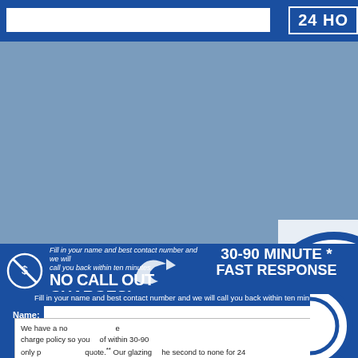24 HO
[Figure (logo): Circular logo with letter A, white and blue, partially visible on right side]
Fill in your name and best contact number and we will call you back within ten minutes
NO CALL OUT CHARGES!
30-90 MINUTE * FAST RESPONSE
Name:
We have a no call out charge policy so you only pay for a quote.** Our glazing services have no
of within 30-90 hour* local glazing second to none for 24
Call Me Back